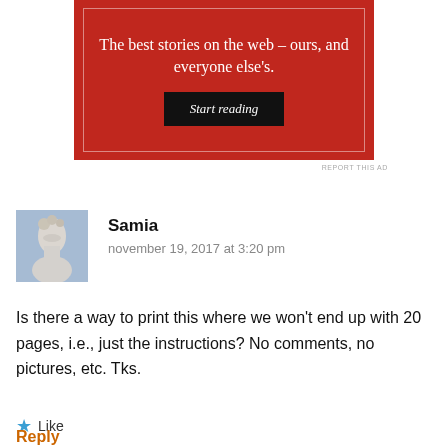[Figure (other): Red advertisement banner with white text reading 'The best stories on the web – ours, and everyone else's.' and a dark 'Start reading' button, bordered with a subtle inner white border]
REPORT THIS AD
Samia
november 19, 2017 at 3:20 pm
Is there a way to print this where we won't end up with 20 pages, i.e., just the instructions? No comments, no pictures, etc. Tks.
Like
Reply